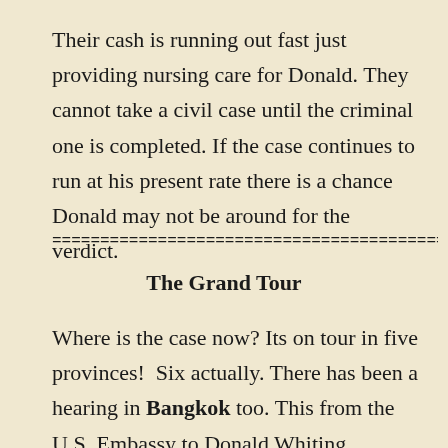Their cash is running out fast just providing nursing care for Donald. They cannot take a civil case until the criminal one is completed. If the case continues to run at his present rate there is a chance Donald may not be around for the verdict.
================================================================
The Grand Tour
Where is the case now? Its on tour in five provinces!  Six actually. There has been a hearing in Bangkok too. This from the U.S. Embassy to Donald Whiting